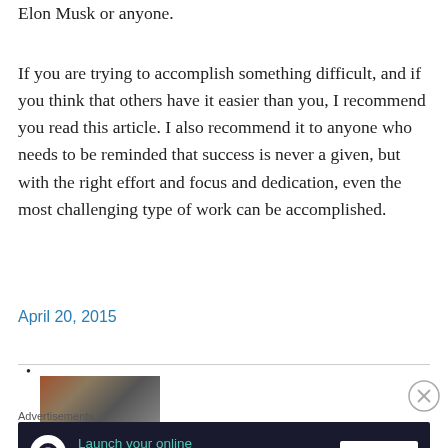Elon Musk or anyone.
If you are trying to accomplish something difficult, and if you think that others have it easier than you, I recommend you read this article. I also recommend it to anyone who needs to be reminded that success is never a given, but with the right effort and focus and dedication, even the most challenging type of work can be accomplished.
April 20, 2015
[Figure (photo): Thumbnail image, partially visible]
Advertisements
[Figure (other): Advertisement banner: Launch your online course with WordPress — Learn More]